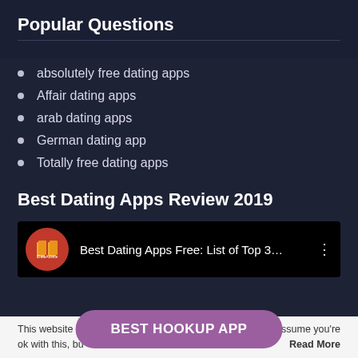Popular Questions
absolutely free dating apps
Affair dating apps
arab dating apps
German dating app
Totally free dating apps
Best Dating Apps Review 2019
[Figure (screenshot): YouTube-style video thumbnail showing iDateAdvice logo and title 'Best Dating Apps Free: List of Top 3...' with three-dot menu icon on black background]
This website uses ... We'll assume you're ok with this, bu... Read More
BEST HOOKUP APP